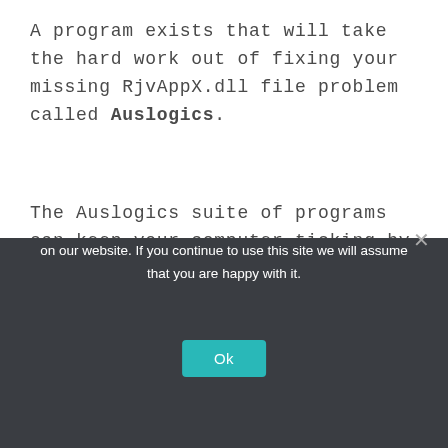A program exists that will take the hard work out of fixing your missing RjvAppX.dll file problem called Auslogics.
The Auslogics suite of programs can keep your computer ticking by and ensure that the drivers and DLL files remain in working order.
[Figure (screenshot): Green download button labeled DOWNLOAD SOLUTION inside a white bordered box]
We use cookies to ensure that we give you the best experience on our website. If you continue to use this site we will assume that you are happy with it.